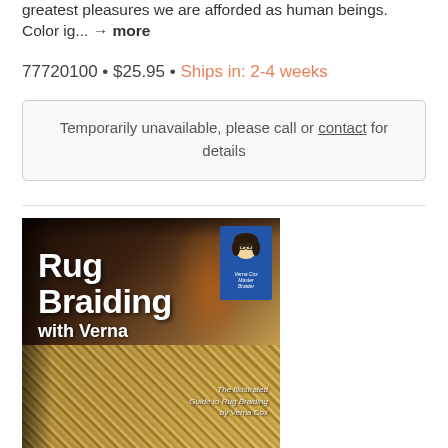greatest pleasures we are afforded as human beings. Color ig... → more
77720100 • $25.95 • Ships in: 2-4 weeks
Temporarily unavailable, please call or contact for details
[Figure (photo): Book cover of 'Rug Braiding with Verna' — The Illustrated Guide to Rug Braiding by Verna Cox. Dark background with braided rug texture, white bold title text, and a blue badge with an author portrait.]